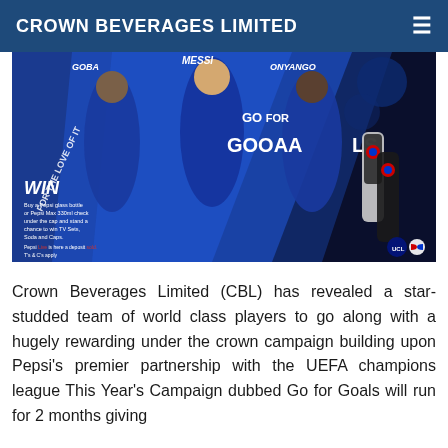CROWN BEVERAGES LIMITED
[Figure (photo): Pepsi promotional banner featuring football players including Messi and Onyango running in blue UEFA Champions League branded attire. Text reads 'GO FOR GOOAALS' and 'WIN' with Pepsi bottles shown. Text includes 'FOR THE LOVE OF IT' and promotion details about buying Pepsi glass bottle or Pepsi Max 330ml to stand a chance to win TV Sets, Soda and Caps. T&Cs apply.]
Crown Beverages Limited (CBL) has revealed a star-studded team of world class players to go along with a hugely rewarding under the crown campaign building upon Pepsi's premier partnership with the UEFA champions league This Year's Campaign dubbed Go for Goals will run for 2 months giving